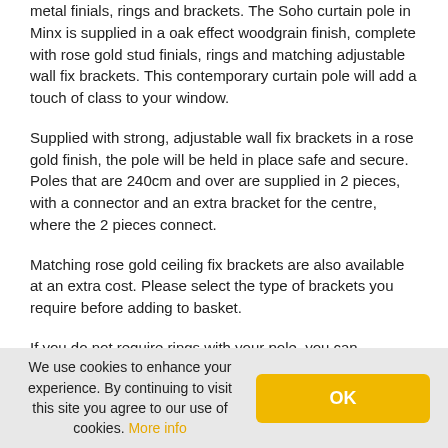metal finials, rings and brackets. The Soho curtain pole in Minx is supplied in a oak effect woodgrain finish, complete with rose gold stud finials, rings and matching adjustable wall fix brackets. This contemporary curtain pole will add a touch of class to your window.
Supplied with strong, adjustable wall fix brackets in a rose gold finish, the pole will be held in place safe and secure. Poles that are 240cm and over are supplied in 2 pieces, with a connector and an extra bracket for the centre, where the 2 pieces connect.
Matching rose gold ceiling fix brackets are also available at an extra cost. Please select the type of brackets you require before adding to basket.
If you do not require rings with your pole, you can purchase
We use cookies to enhance your experience. By continuing to visit this site you agree to our use of cookies. More info